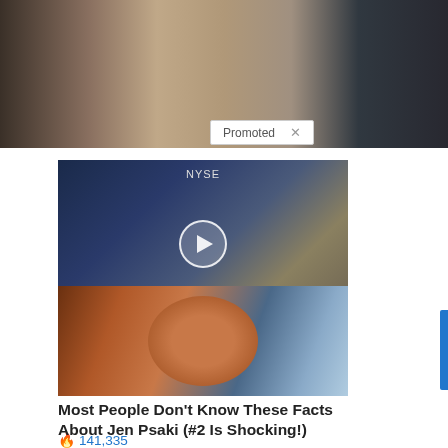[Figure (photo): Close-up photo of an older man's face, partially visible, with camera flash in background. Another person visible on the right side.]
Promoted X
[Figure (screenshot): Video thumbnail showing a man in a dark suit sitting in front of NYSE backdrop, with a play button overlay.]
Biden Probably Wants This Video Destroyed — US Dollar On Path Towards Replacement?
🔥 141,335
[Figure (photo): Photo of a woman with red hair smiling, with a white building facade in the background.]
Most People Don't Know These Facts About Jen Psaki (#2 Is Shocking!)
🔥 30,350